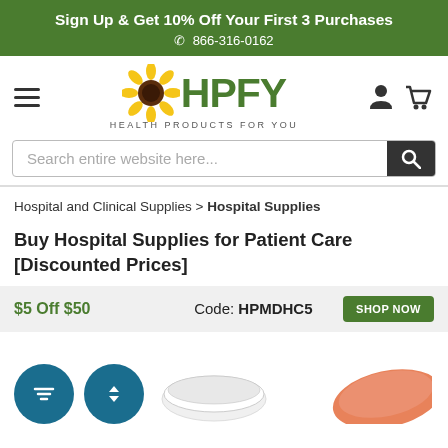Sign Up & Get 10% Off Your First 3 Purchases
☎ 866-316-0162
[Figure (logo): HPFY Health Products For You logo with sunflower icon]
Search entire website here...
Hospital and Clinical Supplies > Hospital Supplies
Buy Hospital Supplies for Patient Care [Discounted Prices]
$5 Off $50   Code: HPMDHC5   SHOP NOW
[Figure (screenshot): Filter and sort circle buttons, and product thumbnail images including a round dish with bedpan-like item and an orange oval/ellipse product]